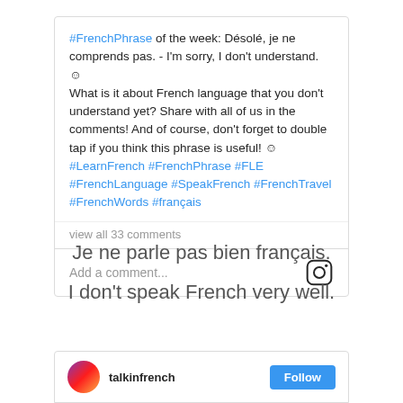#FrenchPhrase of the week: Désolé, je ne comprends pas. - I'm sorry, I don't understand. ☺ What is it about French language that you don't understand yet? Share with all of us in the comments! And of course, don't forget to double tap if you think this phrase is useful! ☺ #LearnFrench #FrenchPhrase #FLE #FrenchLanguage #SpeakFrench #FrenchTravel #FrenchWords #français
view all 33 comments
Add a comment...
Je ne parle pas bien français.
I don't speak French very well.
talkinfrench